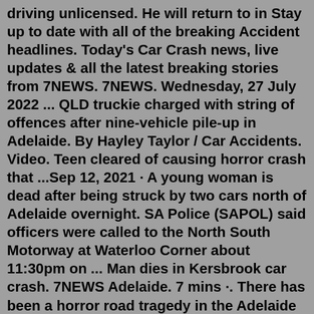driving unlicensed. He will return to in Stay up to date with all of the breaking Accident headlines. Today's Car Crash news, live updates & all the latest breaking stories from 7NEWS. 7NEWS. Wednesday, 27 July 2022 ... QLD truckie charged with string of offences after nine-vehicle pile-up in Adelaide. By Hayley Taylor / Car Accidents. Video. Teen cleared of causing horror crash that ...Sep 12, 2021 · A young woman is dead after being struck by two cars north of Adelaide overnight. SA Police (SAPOL) said officers were called to the North South Motorway at Waterloo Corner about 11:30pm on ... Man dies in Kersbrook car crash. 7NEWS Adelaide. 7 mins ·. There has been a horror road tragedy in the Adelaide Hills where a young father-of-two has died. The 24-year-old's car was barely recognisable after it slammed into a tree at Kersbrook. The latest in 7NEWS Adelaide at 4pm and 6pm | www.7NEWS.com.au. Jul 24, 2022 · Police say the truck driver, a 60-year-old man from Queensland, was taken to hospital with non-life threatening injuries. Eight people in other vehicles